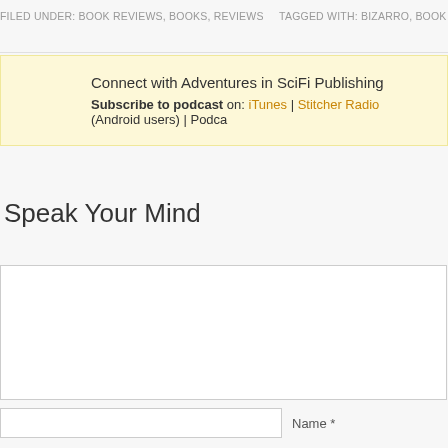FILED UNDER: BOOK REVIEWS, BOOKS, REVIEWS    TAGGED WITH: BIZARRO, BOOK REVIEW
Connect with Adventures in SciFi Publishing
Subscribe to podcast on: iTunes | Stitcher Radio (Android users) | Podca
Speak Your Mind
[comment textarea]
Name *